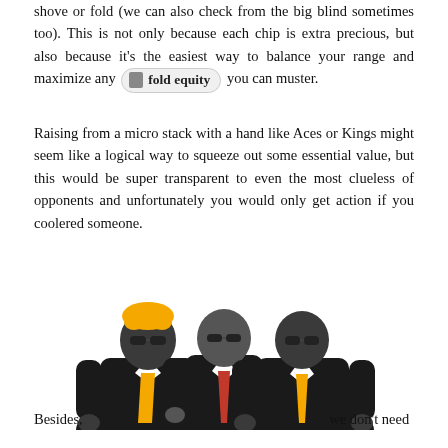shove or fold (we can also check from the big blind sometimes too). This is not only because each chip is extra precious, but also because it's the easiest way to balance your range and maximize any fold equity you can muster.
Raising from a micro stack with a hand like Aces or Kings might seem like a logical way to squeeze out some essential value, but this would be super transparent to even the most clueless of opponents and unfortunately you would only get action if you coolered someone.
[Figure (illustration): Three men in black suits with sunglasses. Left and right figures have yellow/gold ties and dark skin. The middle figure has a red tie. The left figure has blonde/golden hair. They are stylized flat-design silhouette illustrations.]
Besides, we don't need